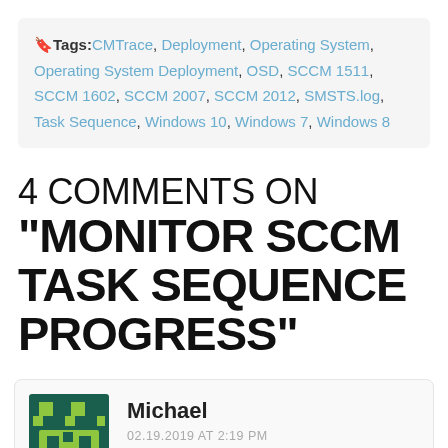Tags: CMTrace, Deployment, Operating System, Operating System Deployment, OSD, SCCM 1511, SCCM 1602, SCCM 2007, SCCM 2012, SMSTS.log, Task Sequence, Windows 10, Windows 7, Windows 8
4 COMMENTS ON "MONITOR SCCM TASK SEQUENCE PROGRESS"
Michael
02.19.2019 AT 2:19 PM
Log in to Reply Pedro, did you ever figure out how to update monitoring so it doesn't show